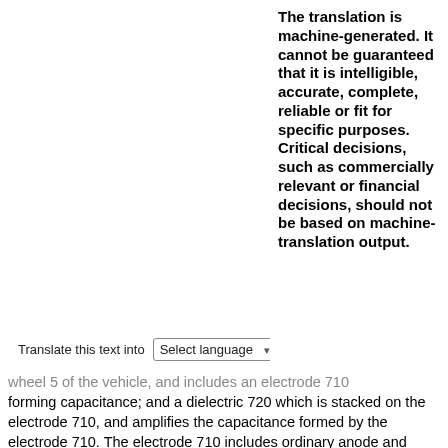The translation is machine-generated. It cannot be guaranteed that it is intelligible, accurate, complete, reliable or fit for specific purposes. Critical decisions, such as commercially relevant or financial decisions, should not be based on machine-translation output.
Translate this text into
[Figure (logo): Patent Translate logo with red background, arrows icon, and 'powered by EPO and Google' tagline]
wheel 5 of the vehicle, and includes an electrode 710 forming capacitance; and a dielectric 720 which is stacked on the electrode 710, and amplifies the capacitance formed by the electrode 710. The electrode 710 includes ordinary anode and cathode signal lines, and the anode signal line is spaced from the cathode signal line to form a capacitor. The